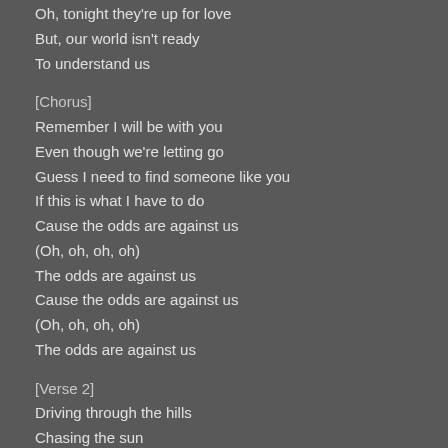Oh, tonight they're up for love
But, our world isn't ready
To understand us
[Chorus]
Remember I will be with you
Even though we're letting go
Guess I need to find someone like you
If this is what I have to do
Cause the odds are against us
(Oh, oh, oh, oh)
The odds are against us
Cause the odds are against us
(Oh, oh, oh, oh)
The odds are against us
[Verse 2]
Driving through the hills
Chasing the sun
We are just two boys